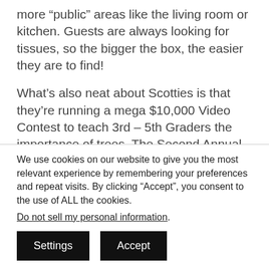more “public” areas like the living room or kitchen. Guests are always looking for tissues, so the bigger the box, the easier they are to find!
What’s also neat about Scotties is that they’re running a mega $10,000 Video Contest to teach 3rd – 5th Graders the importance of trees. The Second Annual Trees Rock! Video Contest invites kids or
We use cookies on our website to give you the most relevant experience by remembering your preferences and repeat visits. By clicking “Accept”, you consent to the use of ALL the cookies.
Do not sell my personal information.